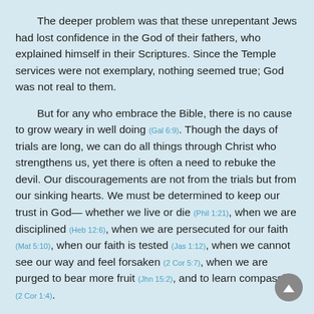The deeper problem was that these unrepentant Jews had lost confidence in the God of their fathers, who explained himself in their Scriptures. Since the Temple services were not exemplary, nothing seemed true; God was not real to them.
But for any who embrace the Bible, there is no cause to grow weary in well doing (Gal 6:9). Though the days of trials are long, we can do all things through Christ who strengthens us, yet there is often a need to rebuke the devil. Our discouragements are not from the trials but from our sinking hearts. We must be determined to keep our trust in God— whether we live or die (Phil 1:21), when we are disciplined (Heb 12:6), when we are persecuted for our faith (Mat 5:10), when our faith is tested (Jas 1:12), when we cannot see our way and feel forsaken (2 Cor 5:7), when we are purged to bear more fruit (Jhn 15:2), and to learn compassion (2 Cor 1:4).